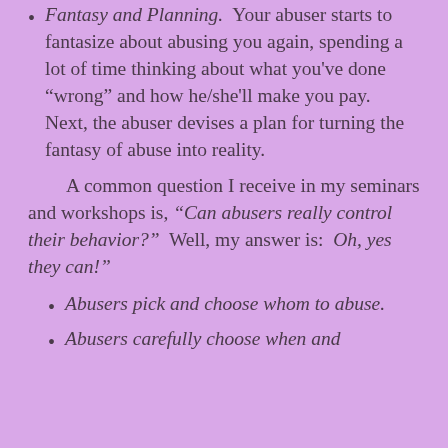Fantasy and Planning. Your abuser starts to fantasize about abusing you again, spending a lot of time thinking about what you've done “wrong” and how he/she'll make you pay. Next, the abuser devises a plan for turning the fantasy of abuse into reality.
A common question I receive in my seminars and workshops is, “Can abusers really control their behavior?” Well, my answer is: Oh, yes they can!”
Abusers pick and choose whom to abuse.
Abusers carefully choose when and